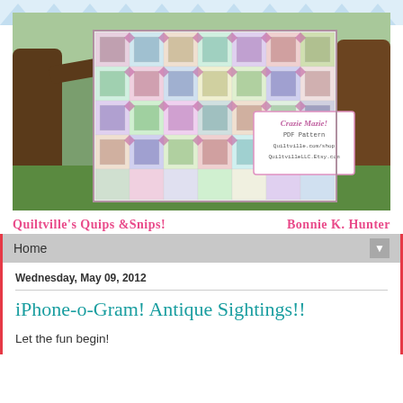[Figure (photo): A colorful patchwork quilt displayed outdoors hanging on wooden tree branches/fence in a garden setting. A pink label on the quilt reads 'Crazie Mazie! PDF Pattern Quiltville.com/shop QuiltvilleLLC.Etsy.com'. The quilt features a Log Cabin style pattern with vibrant multicolored fabrics.]
Quiltville's Quips & Snips!    Bonnie K. Hunter
Home
Wednesday, May 09, 2012
iPhone-o-Gram! Antique Sightings!!
Let the fun begin!